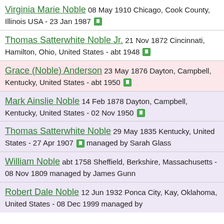Virginia Marie Noble 08 May 1910 Chicago, Cook County, Illinois USA - 23 Jan 1987
Thomas Satterwhite Noble Jr. 21 Nov 1872 Cincinnati, Hamilton, Ohio, United States - abt 1948
Grace (Noble) Anderson 23 May 1876 Dayton, Campbell, Kentucky, United States - abt 1950
Mark Ainslie Noble 14 Feb 1878 Dayton, Campbell, Kentucky, United States - 02 Nov 1950
Thomas Satterwhite Noble 29 May 1835 Kentucky, United States - 27 Apr 1907 managed by Sarah Glass
William Noble abt 1758 Sheffield, Berkshire, Massachusetts - 08 Nov 1809 managed by James Gunn
Robert Dale Noble 12 Jun 1932 Ponca City, Kay, Oklahoma, United States - 08 Dec 1999 managed by